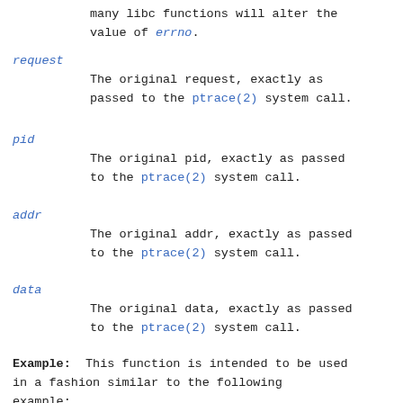many libc functions will alter the value of errno.
request
The original request, exactly as passed to the ptrace(2) system call.
pid
The original pid, exactly as passed to the ptrace(2) system call.
addr
The original addr, exactly as passed to the ptrace(2) system call.
data
The original data, exactly as passed to the ptrace(2) system call.
Example: This function is intended to be used in a fashion similar to the following example:
long result = ptrace(request, pid,
addr, data);
if (result < 0)